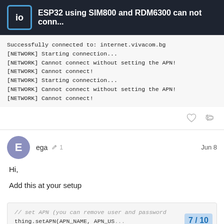ESP32 using SIM800 and RDM6300 can not conn...
Successfully connected to: internet.vivacom.bg
[NETWORK] Starting connection...
[NETWORK] Cannot connect without setting the APN!
[NETWORK] Cannot connect!
[NETWORK] Starting connection...
[NETWORK] Cannot connect without setting the APN!
[NETWORK] Cannot connect!
ega  1  Jun 8
Hi,
Add this at your setup
// set APN (you can remove user and password
thing.setAPN(APN_NAME, APN_US...